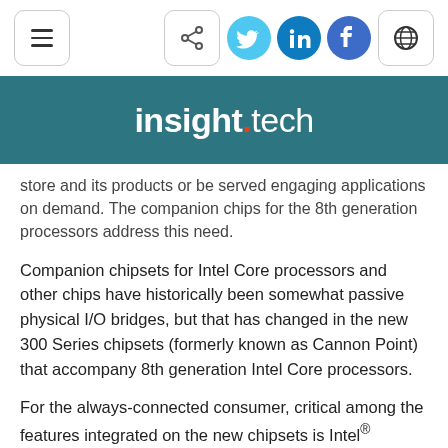[Figure (screenshot): Website navigation bar with hamburger menu, share button, social media icons (Twitter, LinkedIn, Facebook), and globe icon]
[Figure (logo): insight.tech logo on teal/dark cyan background]
store and its products or be served engaging applications on demand. The companion chips for the 8th generation processors address this need.
Companion chipsets for Intel Core processors and other chips have historically been somewhat passive physical I/O bridges, but that has changed in the new 300 Series chipsets (formerly known as Cannon Point) that accompany 8th generation Intel Core processors.
For the always-connected consumer, critical among the features integrated on the new chipsets is Intel®